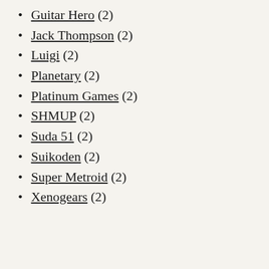Guitar Hero (2)
Jack Thompson (2)
Luigi (2)
Planetary (2)
Platinum Games (2)
SHMUP (2)
Suda 51 (2)
Suikoden (2)
Super Metroid (2)
Xenogears (2)